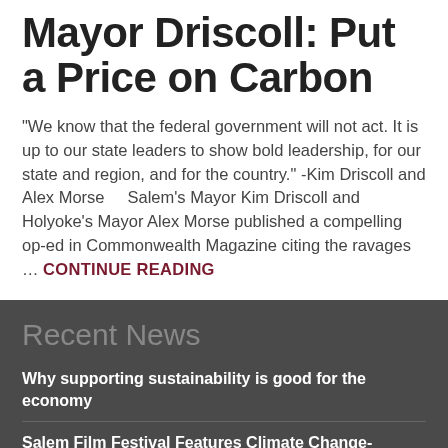Mayor Driscoll: Put a Price on Carbon
"We know that the federal government will not act.  It is up to our state leaders to show bold leadership, for our state and region, and for the country." -Kim Driscoll and Alex Morse    Salem's Mayor Kim Driscoll and Holyoke's Mayor Alex Morse published a compelling op-ed in Commonwealth Magazine citing the ravages … CONTINUE READING
Recent News
Why supporting sustainability is good for the economy
Salem Film Festival Features Climate Change-Themed Documentaries